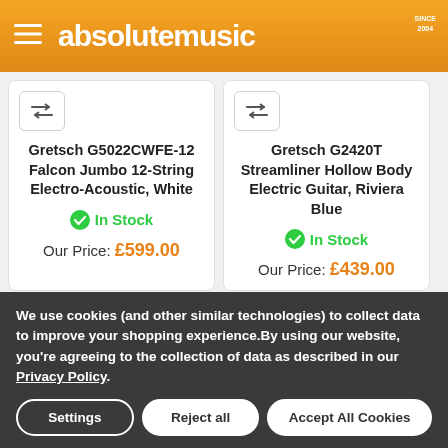absolutemusic
Gretsch G5022CWFE-12 Falcon Jumbo 12-String Electro-Acoustic, White
In Stock
Our Price: £599.00
Gretsch G2420T Streamliner Hollow Body Electric Guitar, Riviera Blue
In Stock
Our Price: £439.00
[Figure (photo): Partial view of an orange guitar neck/body]
[Figure (photo): Partial view of a dark guitar with On Sale badge]
We use cookies (and other similar technologies) to collect data to improve your shopping experience.By using our website, you're agreeing to the collection of data as described in our Privacy Policy.
Settings   Reject all   Accept All Cookies